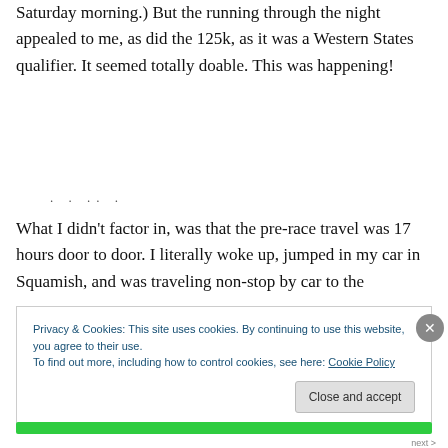Saturday morning.) But the running through the night appealed to me, as did the 125k, as it was a Western States qualifier. It seemed totally doable. This was happening!
What I didn't factor in, was that the pre-race travel was 17 hours door to door. I literally woke up, jumped in my car in Squamish, and was traveling non-stop by car to the
Privacy & Cookies: This site uses cookies. By continuing to use this website, you agree to their use.
To find out more, including how to control cookies, see here: Cookie Policy
Close and accept